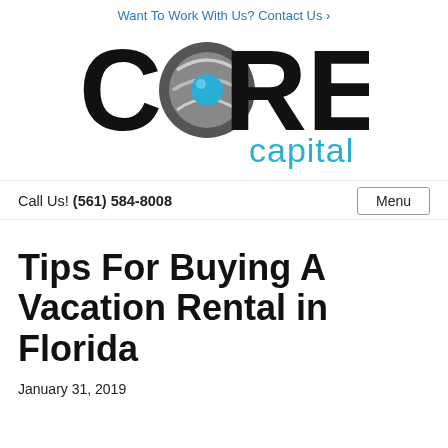Want To Work With Us? Contact Us ›
[Figure (logo): Core Capital logo with stylized globe and swirl mark, black bold CORE text and cyan 'capital' text below]
Call Us! (561) 584-8008
Menu
Tips For Buying A Vacation Rental in Florida
January 31, 2019